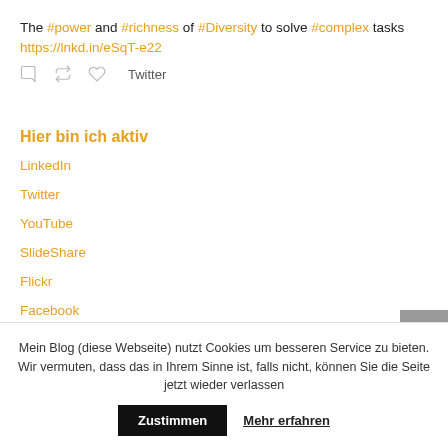The #power and #richness of #Diversity to solve #complex tasks https://lnkd.in/eSqT-e22
Twitter
Hier bin ich aktiv
LinkedIn
Twitter
YouTube
SlideShare
Flickr
Facebook
Mein Blog (diese Webseite) nutzt Cookies um besseren Service zu bieten. Wir vermuten, dass das in Ihrem Sinne ist, falls nicht, können Sie die Seite jetzt wieder verlassen
Zustimmen   Mehr erfahren